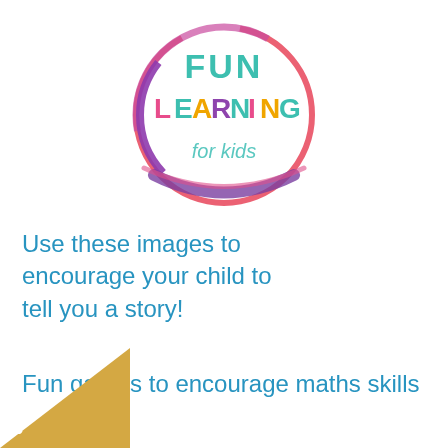[Figure (logo): Fun Learning for Kids circular logo with colorful text inside a hand-drawn style circle border in pink/red/purple gradient]
Use these images to encourage your child to tell you a story!
Fun games to encourage maths skills
[Figure (illustration): Gold triangular corner decoration at bottom-left with a white star/asterisk and letter C]